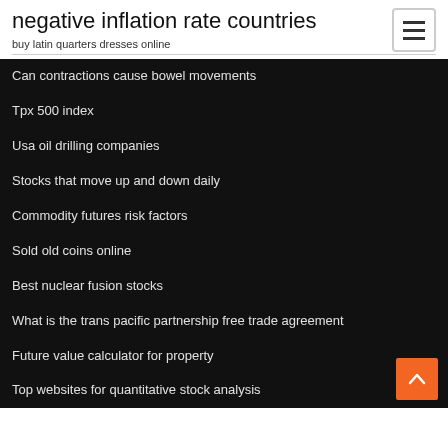negative inflation rate countries
buy latin quarters dresses online
Can contractions cause bowel movements
Tpx 500 index
Usa oil drilling companies
Stocks that move up and down daily
Commodity futures risk factors
Sold old coins online
Best nuclear fusion stocks
What is the trans pacific partnership free trade agreement
Future value calculator for property
Top websites for quantitative stock analysis